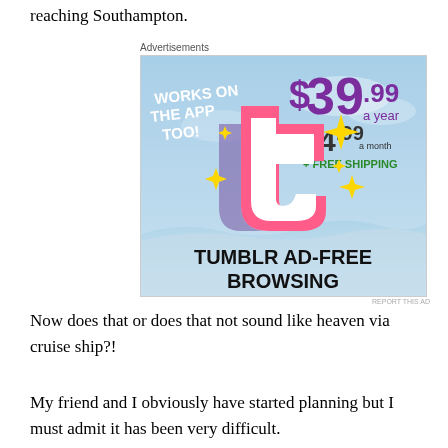reaching Southampton.
[Figure (screenshot): Tumblr Ad-Free Browsing advertisement banner showing Tumblr logo with text: WORKS ON THE APP TOO!, $39.99 a year or $4.99 a month + FREE SHIPPING, TUMBLR AD-FREE BROWSING]
Now does that or does that not sound like heaven via cruise ship?!
My friend and I obviously have started planning but I must admit it has been very difficult.